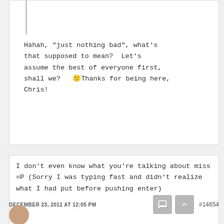Hahah, "just nothing bad", what's that supposed to mean?  Let's assume the best of everyone first, shall we?  🙂Thanks for being here, Chris!
I don't even know what you're talking about miss =P (Sorry I was typing fast and didn't realize what I had put before pushing enter)
DECEMBER 23, 2011 AT 12:05 PM   #14654